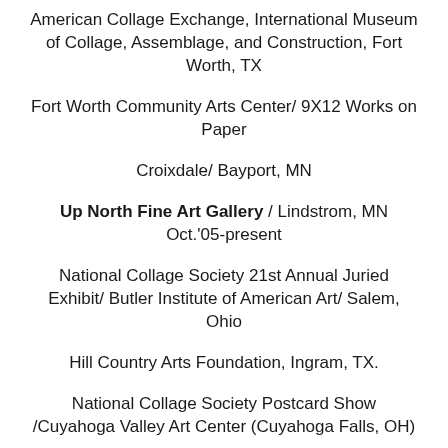American Collage Exchange, International Museum of Collage, Assemblage, and Construction, Fort Worth, TX
Fort Worth Community Arts Center/ 9X12 Works on Paper
Croixdale/ Bayport, MN
Up North Fine Art Gallery / Lindstrom, MN Oct.'05-present
National Collage Society 21st Annual Juried Exhibit/ Butler Institute of American Art/ Salem, Ohio
Hill Country Arts Foundation, Ingram, TX.
National Collage Society Postcard Show /Cuyahoga Valley Art Center (Cuyahoga Falls, OH)